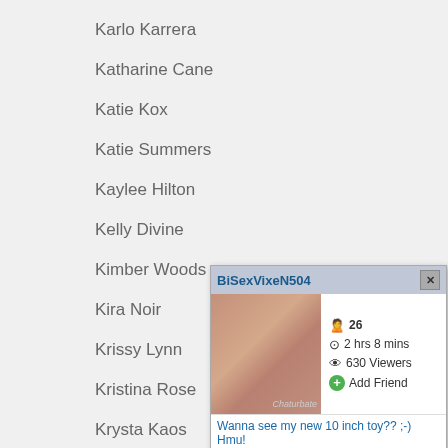Karlo Karrera
Katharine Cane
Katie Kox
Katie Summers
Kaylee Hilton
Kelly Divine
Kimber Woods
Kira Noir
Krissy Lynn
Kristina Rose
Krysta Kaos
Lauren Phillips
Lea Lexis
[Figure (screenshot): Popup window for BiSexVixeN504 showing profile image, stats (26 age, 2 hrs 8 mins, 630 Viewers, Add Friend), message text, input field, and buttons JOIN LIVE CHAT and SEND MESSAGE]